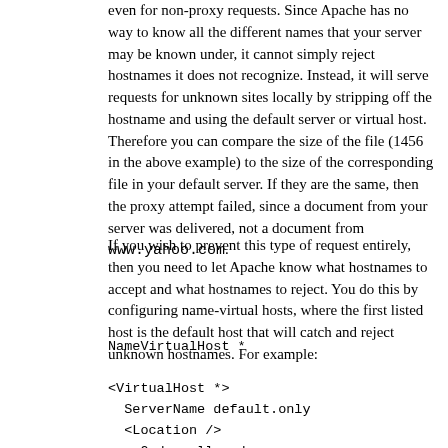even for non-proxy requests. Since Apache has no way to know all the different names that your server may be known under, it cannot simply reject hostnames it does not recognize. Instead, it will serve requests for unknown sites locally by stripping off the hostname and using the default server or virtual host. Therefore you can compare the size of the file (1456 in the above example) to the size of the corresponding file in your default server. If they are the same, then the proxy attempt failed, since a document from your server was delivered, not a document from www.yahoo.com.
If you wish to prevent this type of request entirely, then you need to let Apache know what hostnames to accept and what hostnames to reject. You do this by configuring name-virtual hosts, where the first listed host is the default host that will catch and reject unknown hostnames. For example:
NameVirtualHost *

<VirtualHost *>
  ServerName default.only
  <Location />
    Order allow,deny
    Deny from all
  </Location>
</VirtualHost>